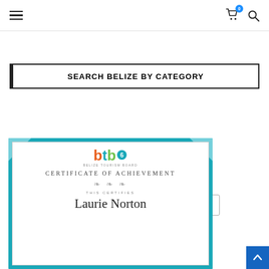Navigation bar with hamburger menu, cart icon (badge: 0), and search icon
SEARCH BELIZE BY CATEGORY
Select Category
[Figure (illustration): BTB (Belize Tourism Board) Certificate of Achievement showing the BTB logo, text 'CERTIFICATE OF ACHIEVEMENT', 'THIS CERTIFIES', and the name 'Laurie Norton']